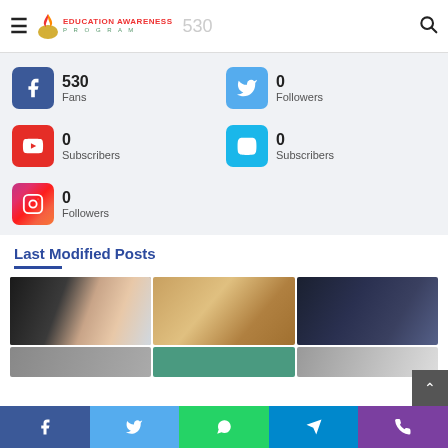EDUCATION AWARENESS PROGRAM — 530
530 Fans
0 Followers
0 Subscribers
0 Subscribers
0 Followers
Last Modified Posts
[Figure (photo): Two women smiling and using a phone]
[Figure (photo): Young boy with glasses writing or drawing]
[Figure (photo): Two men in suits, one holding a framed award]
[Figure (photo): Partial thumbnail row 2 left]
[Figure (photo): Partial thumbnail row 2 center]
[Figure (photo): Partial thumbnail row 2 right]
Facebook | Twitter | WhatsApp | Telegram | Phone